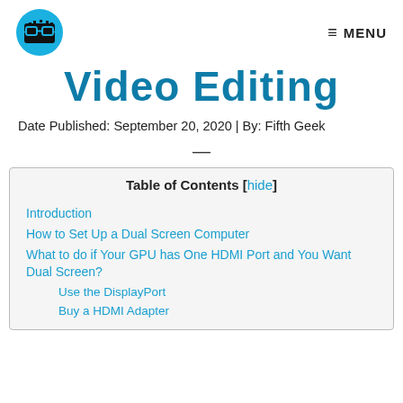Logo | MENU
Video Editing
Date Published: September 20, 2020 | By: Fifth Geek
| Table of Contents |
| --- |
| Introduction |
| How to Set Up a Dual Screen Computer |
| What to do if Your GPU has One HDMI Port and You Want Dual Screen? |
| Use the DisplayPort |
| Buy a HDMI Adapter |